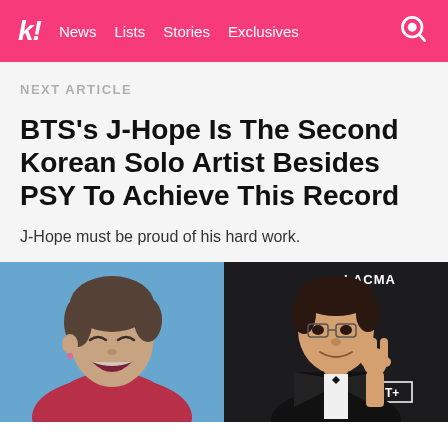k! News  Lists  Stories  Exclusives
NEXT ARTICLE
BTS's J-Hope Is The Second Korean Solo Artist Besides PSY To Achieve This Record
J-Hope must be proud of his hard work.
[Figure (photo): Two-panel image: left shows J-Hope laughing with eyes closed wearing red, blue background; right shows PSY in a tuxedo making a peace sign at a LACMA event]